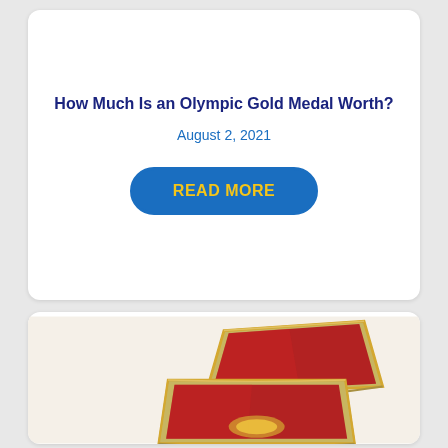How Much Is an Olympic Gold Medal Worth?
August 2, 2021
READ MORE
[Figure (photo): An open red velvet jewelry/medal box with gold trim, partially open, revealing red interior lining, on a light cream background]